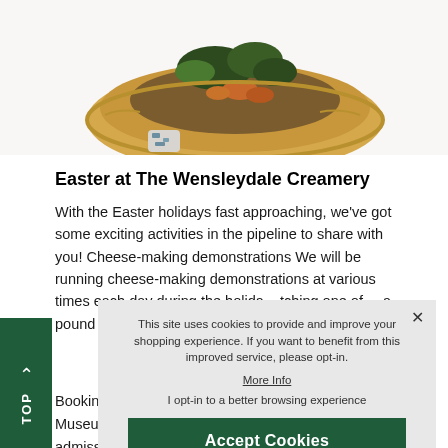[Figure (photo): Close-up photo of a food item — appears to be an open pastry tart topped with cheese, greens, and other ingredients on a white background.]
Easter at The Wensleydale Creamery
With the Easter holidays fast approaching, we've got some exciting activities in the pipeline to share with you! Cheese-making demonstrations We will be running cheese-making demonstrations at various times each day during the holida[y...] tching one of [...] a pound of c[heese...] nutes! Please [...] Booking essentia[l...] Museum & Yorks[hire...] admission).  New cookery demonstrations New for this
This site uses cookies to provide and improve your shopping experience. If you want to benefit from this improved service, please opt-in.
More Info
I opt-in to a better browsing experience
Accept Cookies